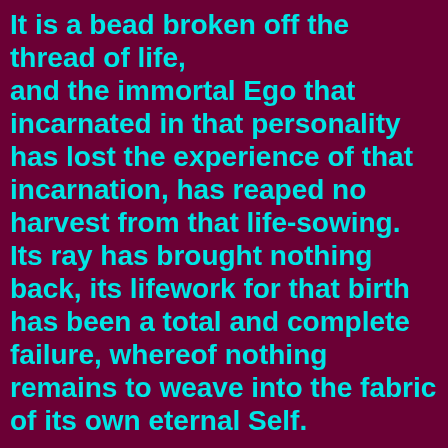It is a bead broken off the thread of life, and the immortal Ego that incarnated in that personality has lost the experience of that incarnation, has reaped no harvest from that life-sowing. Its ray has brought nothing back, its lifework for that birth has been a total and complete failure, whereof nothing remains to weave into the fabric of its own eternal Self.
SUBTLE FORMS OF THE FOURTH AND FIFTH PRINCIPLE